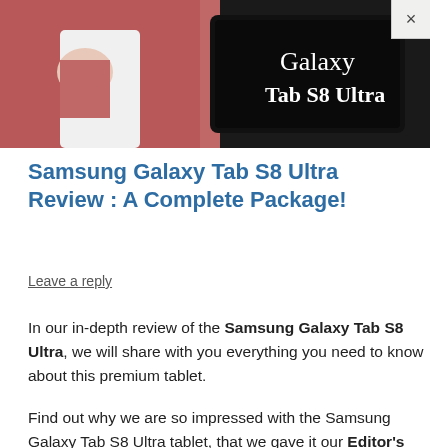[Figure (photo): Advertisement banner for Samsung Galaxy Tab S8 Ultra showing a person in a red/pink cardigan holding the tablet, with white text 'Galaxy Tab S8 Ultra' on dark background, and a close (×) button in the top right]
Samsung Galaxy Tab S8 Ultra Review : A Complete Package!
Leave a reply
In our in-depth review of the Samsung Galaxy Tab S8 Ultra, we will share with you everything you need to know about this premium tablet.
Find out why we are so impressed with the Samsung Galaxy Tab S8 Ultra tablet, that we gave it our Editor's Choice